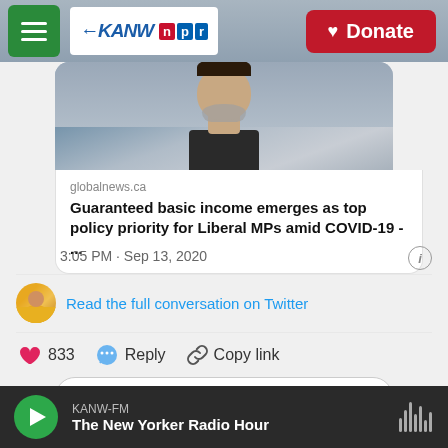[Figure (screenshot): KANW NPR radio station website screenshot showing navigation bar with hamburger menu, KANW NPR logo, and Donate button]
[Figure (photo): Partial photo of a person (face cropped, showing beard and chin) against a cloudy sky/mountain background]
globalnews.ca
Guaranteed basic income emerges as top policy priority for Liberal MPs amid COVID-19 - ...
3:05 PM · Sep 13, 2020
Read the full conversation on Twitter
833
Reply
Copy link
Read 319 replies
KANW-FM
The New Yorker Radio Hour